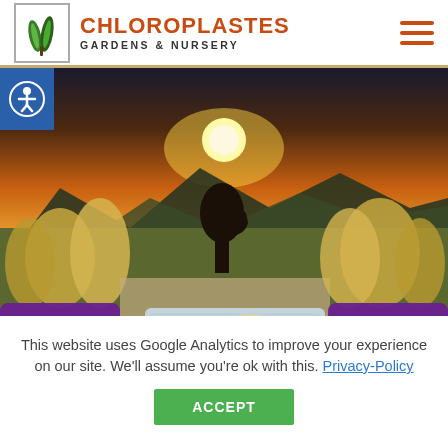CHLOROPLASTES GARDENS & NURSERY
[Figure (photo): Outdoor garden scene at sunset with two wine glasses and food on a tray, purple cushions, ornamental grasses, mountains, and decorative metal fire sculpture in background.]
This website uses Google Analytics to improve your experience on our site. We'll assume you're ok with this. Privacy-Policy
ACCEPT